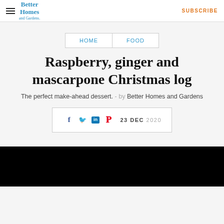Better Homes and Gardens | SUBSCRIBE
HOME | FOOD
Raspberry, ginger and mascarpone Christmas log
The perfect make-ahead dessert. - by Better Homes and Gardens
23 DEC 2020
[Figure (photo): Black image block at bottom of page, appears to be a photo of the Christmas log dessert]